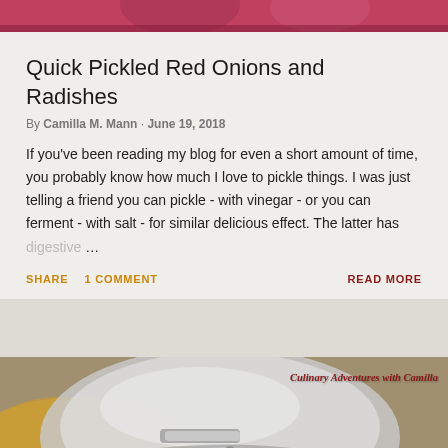[Figure (photo): Top portion of a photo showing red pickled onions or radishes in a jar, cropped at top of page]
Quick Pickled Red Onions and Radishes
By Camilla M. Mann · June 19, 2018
If you've been reading my blog for even a short amount of time, you probably know how much I love to pickle things. I was just telling a friend you can pickle - with vinegar - or you can ferment - with salt - for similar delicious effect. The latter has digestive ...
SHARE    1 COMMENT    READ MORE
[Figure (photo): Bottom portion showing a close-up of a shiny stainless steel pot or pan with food, with watermark text 'Culinary Adventures with Camilla' in dark red italic font]